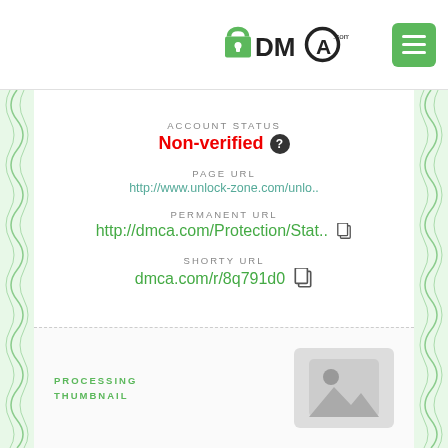DMCA.com
ACCOUNT STATUS
Non-verified
PAGE URL
http://www.unlock-zone.com/unlo..
PERMANENT URL
http://dmca.com/Protection/Stat..
SHORTY URL
dmca.com/r/8q791d0
PROCESSING THUMBNAIL